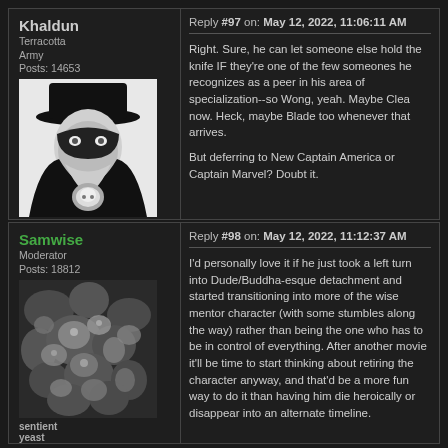Khaldun
Terracotta Army
Posts: 14653
[Figure (illustration): Black and white illustration of a shadowy figure in a hat and cape holding a glowing skull]
Reply #97 on: May 12, 2022, 11:06:11 AM
Right. Sure, he can let someone else hold the knife IF they're one of the few someones he recognizes as a peer in his area of specialization--so Wong, yeah. Maybe Clea now. Heck, maybe Blade too whenever that arrives.

But deferring to New Captain America or Captain Marvel? Doubt it.
Samwise
Moderator
Posts: 18812
[Figure (photo): Microscope image of sentient yeast cells]
sentient yeast
Reply #98 on: May 12, 2022, 11:12:37 AM
I'd personally love it if he just took a left turn into Dude/Buddha-esque detachment and started transitioning into more of the wise mentor character (with some stumbles along the way) rather than being the one who has to be in control of everything. After another movie it'll be time to start thinking about retiring the character anyway, and that'd be a more fun way to do it than having him die heroically or disappear into an alternate timeline.